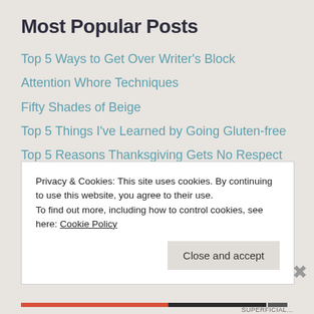Most Popular Posts
Top 5 Ways to Get Over Writer's Block
Attention Whore Techniques
Fifty Shades of Beige
Top 5 Things I've Learned by Going Gluten-free
Top 5 Reasons Thanksgiving Gets No Respect
Privacy & Cookies: This site uses cookies. By continuing to use this website, you agree to their use.
To find out more, including how to control cookies, see here: Cookie Policy
Close and accept